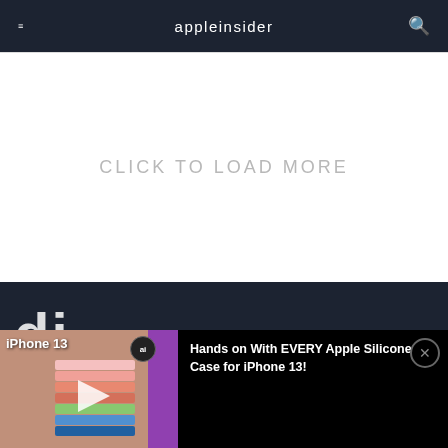appleinsider
CLICK TO LOAD MORE
[Figure (screenshot): Dark navy footer section with partial white bold text visible]
[Figure (screenshot): Video overlay bar showing iPhone 13 silicone cases thumbnail with play button, ai badge, and title 'Hands on With EVERY Apple Silicone Case for iPhone 13!' with close button]
Hands on With EVERY Apple Silicone Case for iPhone 13!